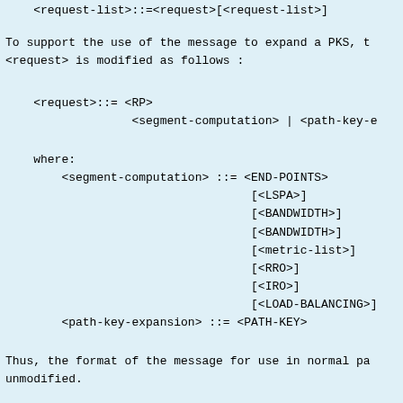To support the use of the message to expand a PKS, t<request> is modified as follows :
Thus, the format of the message for use in normal pa unmodified.